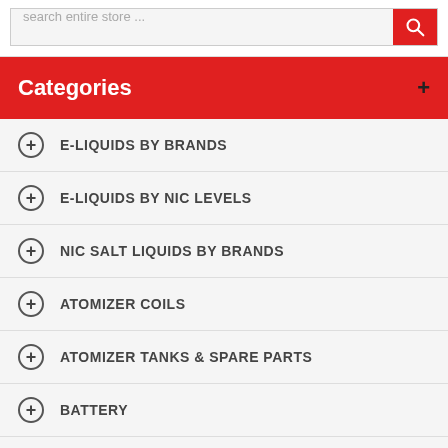[Figure (screenshot): Search bar with placeholder text 'search entire store ...' and a red search button with magnifying glass icon]
Categories
E-LIQUIDS BY BRANDS
E-LIQUIDS BY NIC LEVELS
NIC SALT LIQUIDS BY BRANDS
ATOMIZER COILS
ATOMIZER TANKS & SPARE PARTS
BATTERY
CARRYING BAGS
COIL BUILDING ESSENTIALS